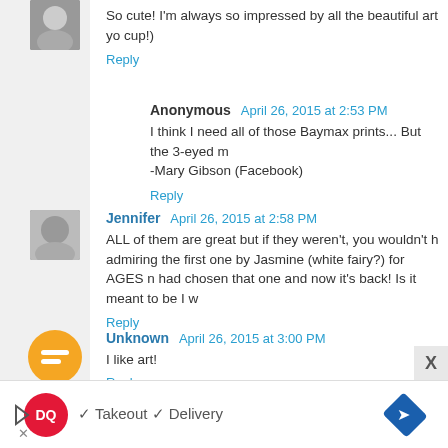So cute! I'm always so impressed by all the beautiful art yo cup!)
Reply
Anonymous  April 26, 2015 at 2:53 PM
I think I need all of those Baymax prints... But the 3-eyed m -Mary Gibson (Facebook)
Reply
Jennifer  April 26, 2015 at 2:58 PM
ALL of them are great but if they weren't, you wouldn't h admiring the first one by Jasmine (white fairy?) for AGES n had chosen that one and now it's back! Is it meant to be I w
Reply
Unknown  April 26, 2015 at 3:00 PM
I like art!
Reply
[Figure (other): DQ Dairy Queen advertisement banner with Takeout and Delivery options]
[Figure (other): User avatar photo - small portrait thumbnail at top]
[Figure (other): Jennifer user avatar - dog/animal photo]
[Figure (other): Unknown user - Blogger orange circle icon]